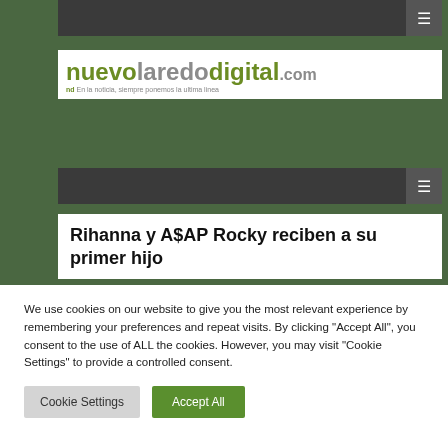≡
[Figure (logo): nuevolaredodigital.com logo with tagline 'nd En la noticia, siempre ponemos la ultima linea']
≡
Rihanna y A$AP Rocky reciben a su primer hijo
We use cookies on our website to give you the most relevant experience by remembering your preferences and repeat visits. By clicking "Accept All", you consent to the use of ALL the cookies. However, you may visit "Cookie Settings" to provide a controlled consent.